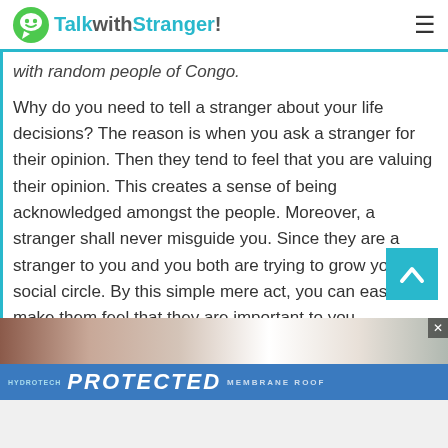TalkwithStranger!
with random people of Congo.
Why do you need to tell a stranger about your life decisions? The reason is when you ask a stranger for their opinion. Then they tend to feel that you are valuing their opinion. This creates a sense of being acknowledged amongst the people. Moreover, a stranger shall never misguide you. Since they are a stranger to you and you both are trying to grow your social circle. By this simple mere act, you can easily make them feel that they are important to you. alongside, they will use their full capabilities and
[Figure (screenshot): Advertisement banner for HYDROTECH PROTECTED MEMBRANE ROOF product with blue bar and photo strip]